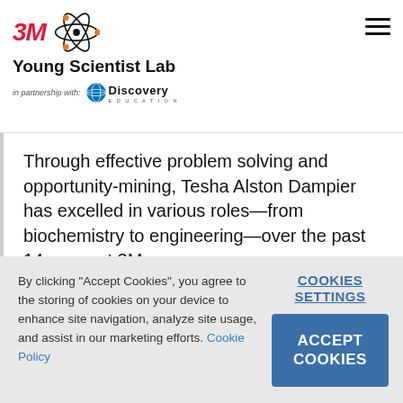3M Young Scientist Lab in partnership with Discovery Education
Through effective problem solving and opportunity-mining, Tesha Alston Dampier has excelled in various roles—from biochemistry to engineering—over the past 14 years at 3M.
By clicking "Accept Cookies", you agree to the storing of cookies on your device to enhance site navigation, analyze site usage, and assist in our marketing efforts. Cookie Policy
COOKIES SETTINGS
ACCEPT COOKIES